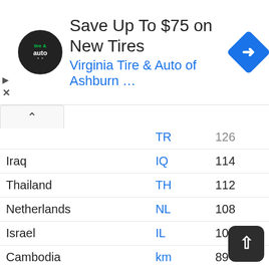[Figure (screenshot): Advertisement banner for Virginia Tire & Auto of Ashburn with logo, headline 'Save Up To $75 on New Tires', subheading in blue, and navigation arrow icon.]
| Country | Code | Value |
| --- | --- | --- |
|  | TR | 126 |
| Iraq | IQ | 114 |
| Thailand | TH | 112 |
| Netherlands | NL | 108 |
| Israel | IL | 106 |
| Cambodia | km | 89 |
| Algeria | DZ | 68 |
| Ireland | IE | 62 |
| Romania | RO | 59 |
| Jordan | JO | 55 |
| Poland | PL | 53 |
| Ghana | GH | 50 |